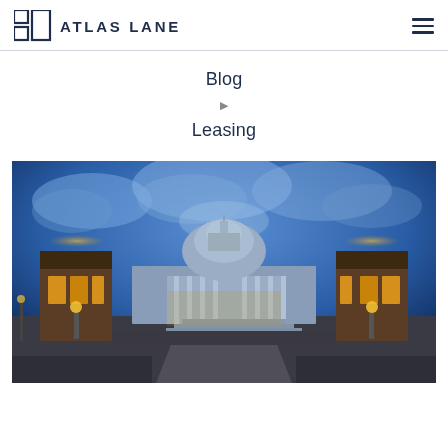ATLAS LANE
Blog
▶
Leasing
[Figure (photo): Nighttime/blue hour photograph of the United States Capitol building in Washington DC, viewed from the front walkway, flanked by ornate lamp post gatehouses with warm yellow lighting, dramatic blue cloudy sky above]